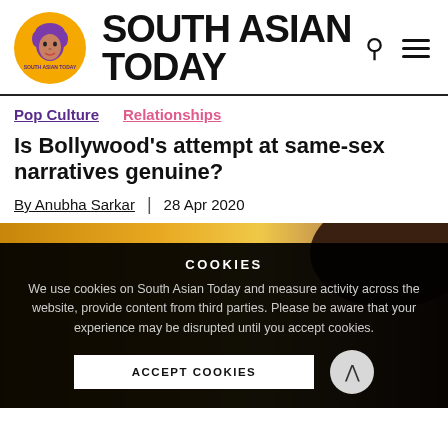SOUTH ASIAN TODAY
Pop Culture   Relationships
Is Bollywood's attempt at same-sex narratives genuine?
By Anubha Sarkar  |  28 Apr 2020
[Figure (photo): Article header image showing a close-up of a person's hair against a warm orange blurred background]
COOKIES
We use cookies on South Asian Today and measure activity across the website, provide content from third parties. Please be aware that your experience may be disrupted until you accept cookies.
ACCEPT COOKIES